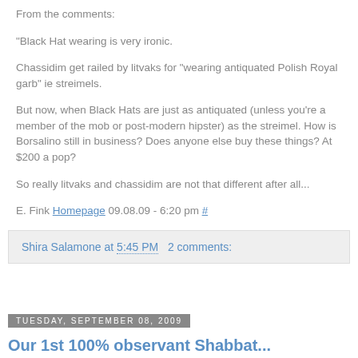From the comments:
"Black Hat wearing is very ironic.

Chassidim get railed by litvaks for "wearing antiquated Polish Royal garb" ie streimels.

But now, when Black Hats are just as antiquated (unless you're a member of the mob or post-modern hipster) as the streimel. How is Borsalino still in business? Does anyone else buy these things? At $200 a pop?

So really litvaks and chassidim are not that different after all...

E. Fink Homepage 09.08.09 - 6:20 pm #
Shira Salamone at 5:45 PM   2 comments:
Tuesday, September 08, 2009
Our 1st 100% observant Shabbat...